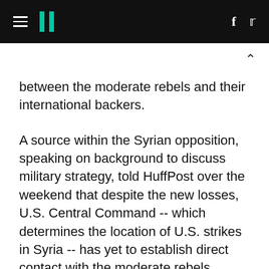HuffPost navigation header with hamburger menu, logo, Facebook and Twitter icons
between the moderate rebels and their international backers.
A source within the Syrian opposition, speaking on background to discuss military strategy, told HuffPost over the weekend that despite the new losses, U.S. Central Command -- which determines the location of U.S. strikes in Syria -- has yet to establish direct contact with the moderate rebels battling the Nusra Front, the Islamic State and Assad in northern Syria.